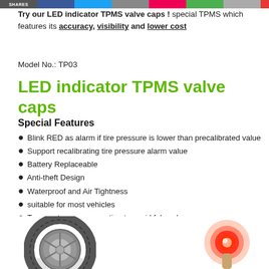SHARES
Try our LED indicator TPMS valve caps ! special TPMS which features its accuracy, visibility and lower cost
Model No.: TP03
LED indicator TPMS valve caps
Special Features
Blink RED as alarm if tire pressure is lower than precalibrated value
Support recalibrating tire pressure alarm value
Battery Replaceable
Anti-theft Design
Waterproof and Air Tightness
suitable for most vehicles
Temperature compensation to avoid false alarms
[Figure (photo): Photo of a tire on the left and an LED indicator glowing red on the right, showing the TPMS valve cap product in use]